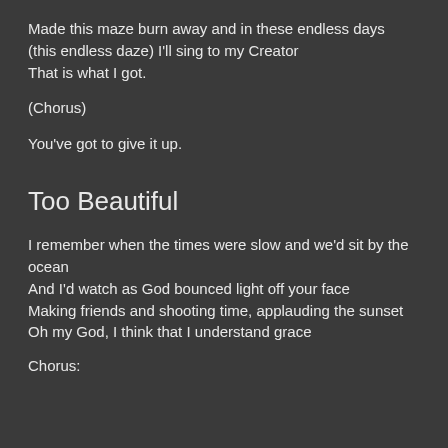Made this maze burn away and in these endless days (this endless daze) I'll sing to my Creator
That is what I got.
(Chorus)
You've got to give it up.
Too Beautiful
I remember when the times were slow and we'd sit by the ocean
And I'd watch as God bounced light off your face
Making friends and shooting time, applauding the sunset
Oh my God, I think that I understand grace
Chorus: